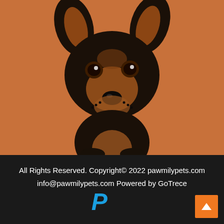[Figure (photo): Close-up photo of a small black and tan puppy (Miniature Pinscher or similar breed) with large ears, sitting against an orange/brown background, facing the camera with big brown eyes.]
All Rights Reserved. Copyright© 2022 pawmilypets.com info@pawmilypets.com Powered by GoTrece